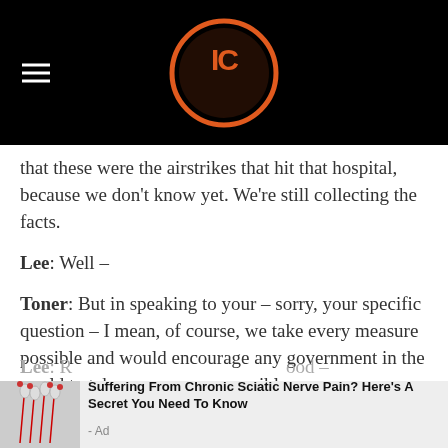IC (logo)
that these were the airstrikes that hit that hospital, because we don't know yet. We're still collecting the facts.
Lee: Well –
Toner: But in speaking to your – sorry, your specific question – I mean, of course, we take every measure possible and would encourage any government in the world to take any measure possible – every measure possible – every measure possible to avoid civilian casualties, even when that involves close-quarter combat.
Lee: R
[Figure (infographic): Advertising banner: image of nerves/spine on left, text reading 'Suffering From Chronic Sciatic Nerve Pain? Here's A Secret You Need To Know - Ad']